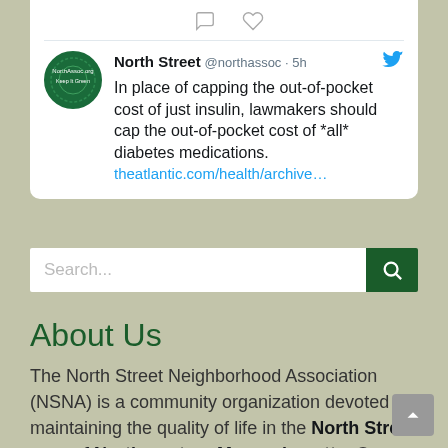[Figure (screenshot): Tweet card from North Street (@northassoc) posted 5 hours ago. Text: In place of capping the out-of-pocket cost of just insulin, lawmakers should cap the out-of-pocket cost of *all* diabetes medications. theatlantic.com/health/archive…]
Search...
About Us
The North Street Neighborhood Association (NSNA) is a community organization devoted to maintaining the quality of life in the North Street area of Northampton, Massachusetts. Our current priority is to preserve the size and quality of the woods between North Street and the bike trail, one of the few substantial stands of trees remaining in downtown Northampton. See pictures of our woods on Flickr.